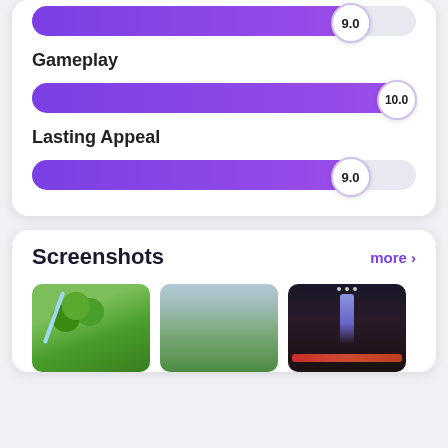[Figure (infographic): Score bar for an unnamed category showing 9.0 out of 10, purple filled bar with score knob]
Gameplay
[Figure (infographic): Score bar for Gameplay showing 10.0 out of 10, fully filled purple bar with score knob]
Lasting Appeal
[Figure (infographic): Score bar for Lasting Appeal showing 9.0 out of 10, purple filled bar with score knob]
Screenshots
[Figure (screenshot): Three game screenshots: outdoor green scene, misty valley, dark dungeon with HUD]
more >